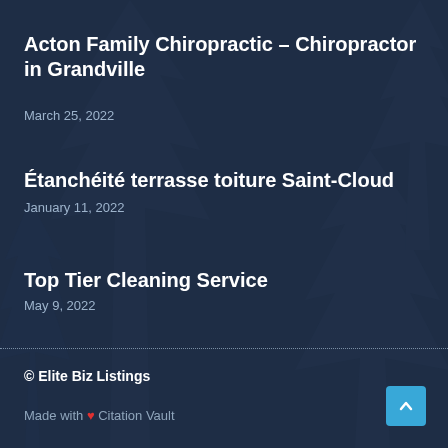Acton Family Chiropractic – Chiropractor in Grandville
March 25, 2022
Étanchéité terrasse toiture Saint-Cloud
January 11, 2022
Top Tier Cleaning Service
May 9, 2022
© Elite Biz Listings
Made with ❤ Citation Vault